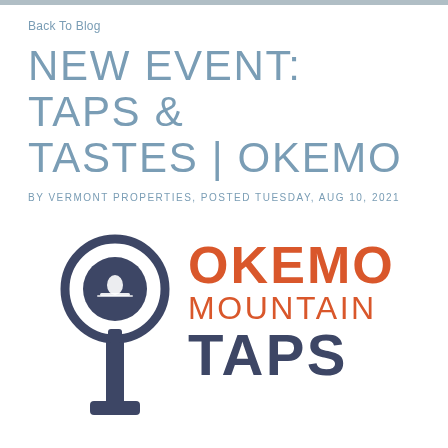Back To Blog
NEW EVENT: TAPS & TASTES | OKEMO
BY VERMONT PROPERTIES, POSTED TUESDAY, AUG 10, 2021
[Figure (logo): Okemo Mountain Taps & Tastes logo: a beer tap icon in dark slate blue with a circular emblem, next to text reading OKEMO MOUNTAIN TAPS in orange and dark navy]